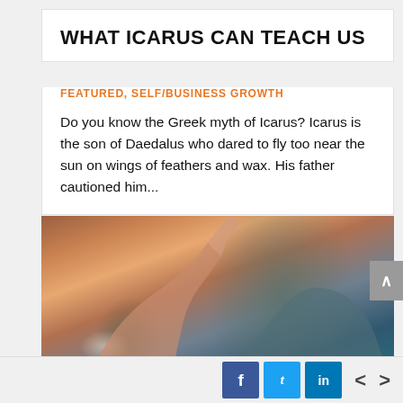WHAT ICARUS CAN TEACH US
FEATURED, SELF/BUSINESS GROWTH
Do you know the Greek myth of Icarus? Icarus is the son of Daedalus who dared to fly too near the sun on wings of feathers and wax. His father cautioned him...
[Figure (photo): A person touching a mirror with their hand raised, warm tones, blurred background]
[Figure (infographic): Social share buttons: Facebook (f), Twitter (bird icon), LinkedIn (in), and navigation arrows left and right]